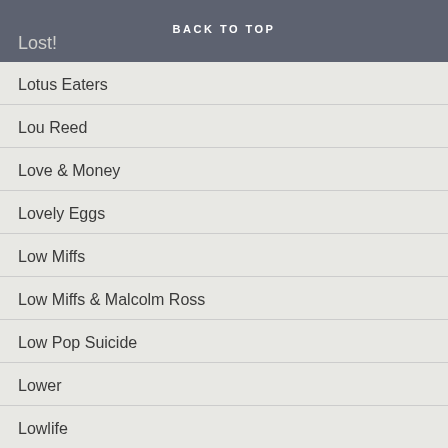BACK TO TOP
Lost!
Lotus Eaters
Lou Reed
Love & Money
Lovely Eggs
Low Miffs
Low Miffs & Malcolm Ross
Low Pop Suicide
Lower
Lowlife
Lucksmiths
Lucky Pierre
Ludus